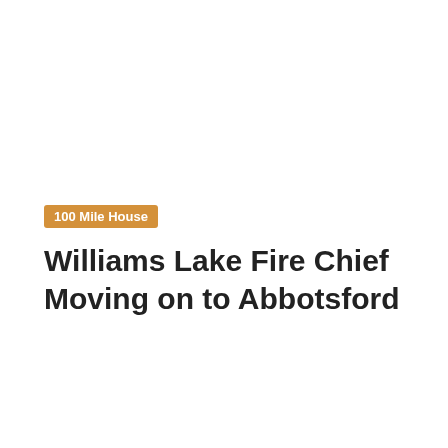100 Mile House
Williams Lake Fire Chief Moving on to Abbotsford